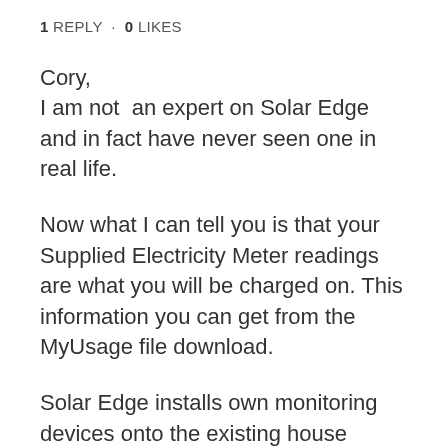1 REPLY · 0 LIKES
Cory,
I am not  an expert on Solar Edge and in fact have never seen one in real life.
Now what I can tell you is that your Supplied Electricity Meter readings are what you will be charged on. This information you can get from the MyUsage file download.
Solar Edge installs own monitoring devices onto the existing house wiring circuit and if not installed correctly will